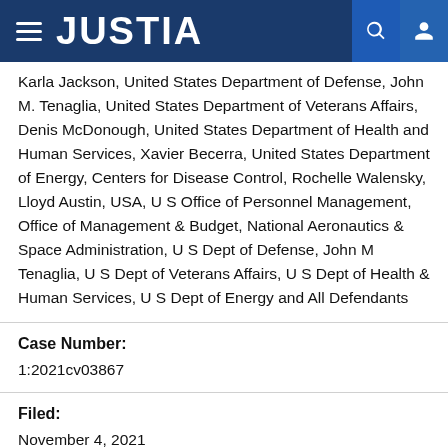JUSTIA
Karla Jackson, United States Department of Defense, John M. Tenaglia, United States Department of Veterans Affairs, Denis McDonough, United States Department of Health and Human Services, Xavier Becerra, United States Department of Energy, Centers for Disease Control, Rochelle Walensky, Lloyd Austin, USA, U S Office of Personnel Management, Office of Management & Budget, National Aeronautics & Space Administration, U S Dept of Defense, John M Tenaglia, U S Dept of Veterans Affairs, U S Dept of Health & Human Services, U S Dept of Energy and All Defendants
Case Number:
1:2021cv03867
Filed:
November 4, 2021